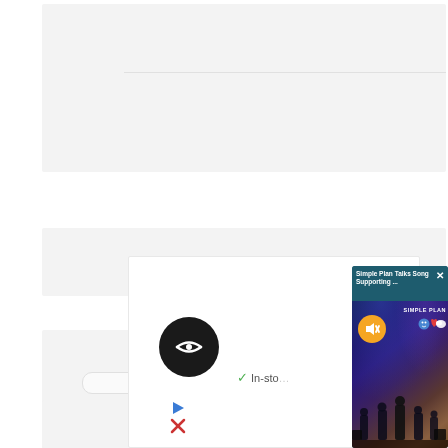[Figure (screenshot): Web page screenshot showing multiple gray content placeholder blocks with a horizontal divider line]
[Figure (screenshot): Small widget panel at bottom showing a scan/barcode circular logo icon and a green checkmark with 'In-sto...' text (in-stock label), plus play and X icons]
[Figure (screenshot): Video popup overlay in teal/dark blue: header reads 'Simple Plan Talks Song Supporting ...' with an X close button, video frame shows a concert scene with blue stage lighting and 'SIMPLE PLAN' branding, a yellow muted speaker button in top-left, and band members performing on stage]